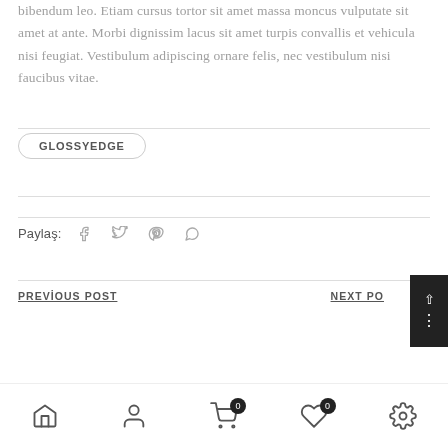bibendum leo. Etiam cursus tortor sit amet massa moncus vulputate sit amet at ante. Morbi dignissim lacus sit amet turpis convallis et vehicula nisi feugiat. Vestibulum adipiscing ornare felis, nec vestibulum nisi faucibus vitae.
GLOSSYEDGE
Paylaş:
PREVIOUS POST
NEXT PO...